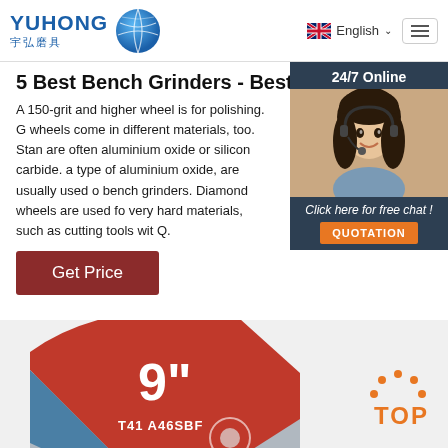[Figure (logo): YUHONG 宇弘磨具 logo with blue globe icon]
[Figure (infographic): British flag icon and English language selector with hamburger menu]
5 Best Bench Grinders - BestReviews
A 150-grit and higher wheel is for polishing. G wheels come in different materials, too. Stan are often aluminium oxide or silicon carbide. a type of aluminium oxide, are usually used o bench grinders. Diamond wheels are used fo very hard materials, such as cutting tools wit Q.
[Figure (photo): 24/7 Online chat widget with smiling female agent wearing headset, dark blue background, 'Click here for free chat!' text and orange QUOTATION button]
[Figure (other): Get Price button in dark red/brown color]
[Figure (photo): Red and blue grinding disc showing 9 inch label and T41 A46SBF product code, with orange TOP badge in bottom right]